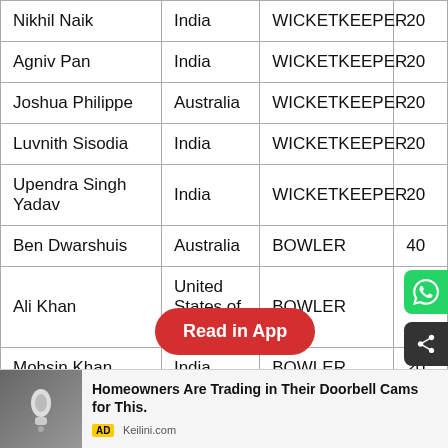| Name | Country | Role | Points |
| --- | --- | --- | --- |
| Nikhil Naik | India | WICKETKEEPER | 20 |
| Agniv Pan | India | WICKETKEEPER | 20 |
| Joshua Philippe | Australia | WICKETKEEPER | 20 |
| Luvnith Sisodia | India | WICKETKEEPER | 20 |
| Upendra Singh Yadav | India | WICKETKEEPER | 20 |
| Ben Dwarshuis | Australia | BOWLER | 40 |
| Ali Khan | United States of America | BOWLER | 20 |
| Mohsin Khan | India | BOWLER | 20 |
| Lukman Hussain Meriwal | India | BOWLER | 20 |